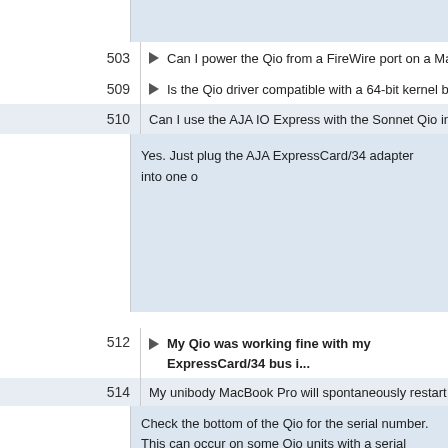503 ▶ Can I power the Qio from a FireWire port on a MacBook Pr...
509 ▶ Is the Qio driver compatible with a 64-bit kernel boot of OS...
510 Can I use the AJA IO Express with the Sonnet Qio in a Mac...
Yes. Just plug the AJA ExpressCard/34 adapter into one o...
512 ▶ My Qio was working fine with my ExpressCard/34 bus i... Express bus interface card in an early 2009 MacPro.
514 My unibody MacBook Pro will spontaneously restart after s...
Check the bottom of the Qio for the serial number.
This can occur on some Qio units with a serial number beg...
516 ▶ What kind of battery can I use with the Qio?